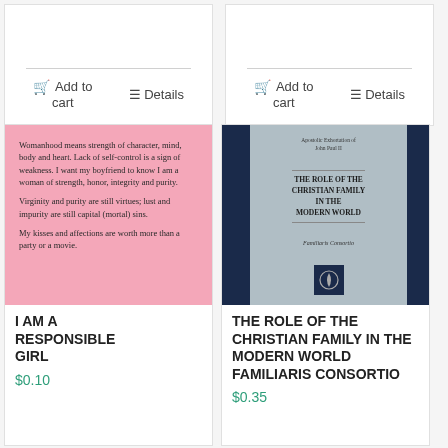Add to cart
Details
Add to cart
Details
[Figure (illustration): Pink background card with inspirational text about womanhood, virginity, purity, and affections]
I AM A RESPONSIBLE GIRL
$0.10
[Figure (illustration): Book cover: The Role of the Christian Family in the Modern World, Familiaris Consortio, dark navy blue cover with grey center panel]
THE ROLE OF THE CHRISTIAN FAMILY IN THE MODERN WORLD Familiaris Consortio
$0.35